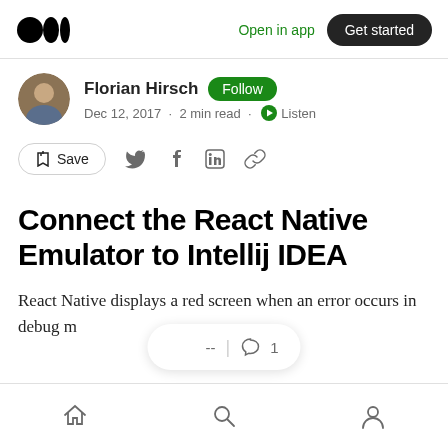Open in app  Get started
Florian Hirsch  Follow
Dec 12, 2017 · 2 min read · Listen
Save
Connect the React Native Emulator to Intellij IDEA
React Native displays a red screen when an error occurs in debug m...
-- | 1